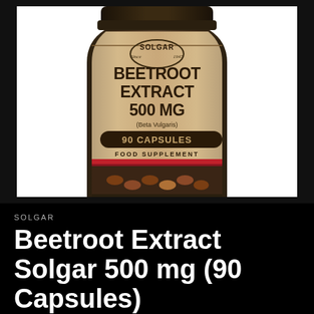[Figure (photo): Solgar Beetroot Extract 500 MG (Beta Vulgaris) 90 Capsules Food Supplement bottle label, tan/beige colored bottle with dark brown accents, red stripe, capsules visible at bottom]
SOLGAR
Beetroot Extract Solgar 500 mg (90 Capsules)